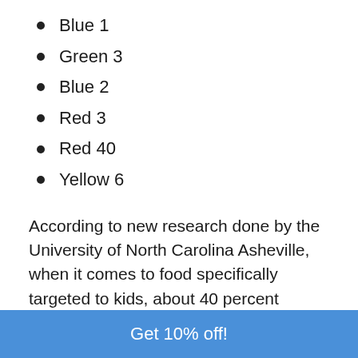Blue 1
Green 3
Blue 2
Red 3
Red 40
Yellow 6
According to new research done by the University of North Carolina Asheville, when it comes to food specifically targeted to kids, about 40 percent contains artificial colors and food coloring.
Researchers tested 810 products and found that 350
Get 10% off!